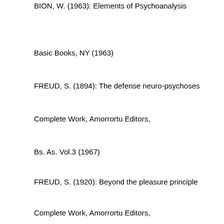BION, W. (1963): Elements of Psychoanalysis
Basic Books, NY (1963)
FREUD, S. (1894): The defense neuro-psychoses
Complete Work, Amorrortu Editors,
Bs. As. Vol.3 (1967)
FREUD, S. (1920): Beyond the pleasure principle
Complete Work, Amorrortu Editors,
Bs. As. Vol.18 (1967)
LACAN, J. (1949): The Mirror Stage
Ecrits Vol.1, Siglo21 Editors,